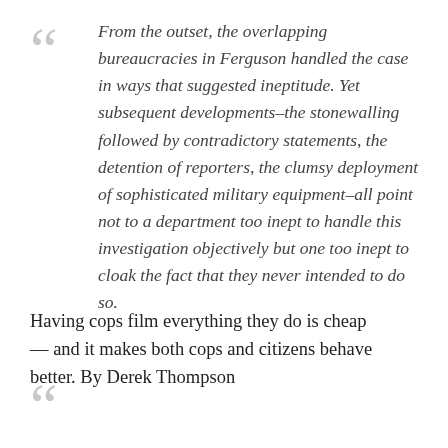From the outset, the overlapping bureaucracies in Ferguson handled the case in ways that suggested ineptitude. Yet subsequent developments–the stonewalling followed by contradictory statements, the detention of reporters, the clumsy deployment of sophisticated military equipment–all point not to a department too inept to handle this investigation objectively but one too inept to cloak the fact that they never intended to do so.
Having cops film everything they do is cheap — and it makes both cops and citizens behave better. By Derek Thompson